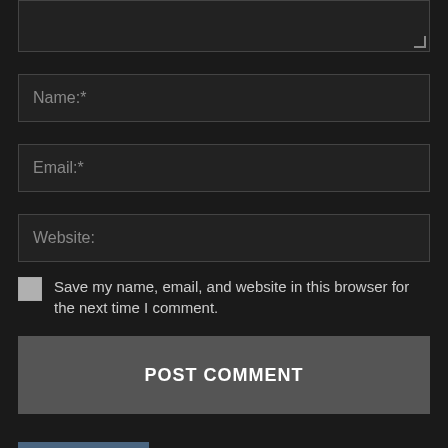[Figure (screenshot): Text area input field (comment box, partially visible at top)]
Name:*
Email:*
Website:
Save my name, email, and website in this browser for the next time I comment.
POST COMMENT
Latest article
The car without the hood and shocks…